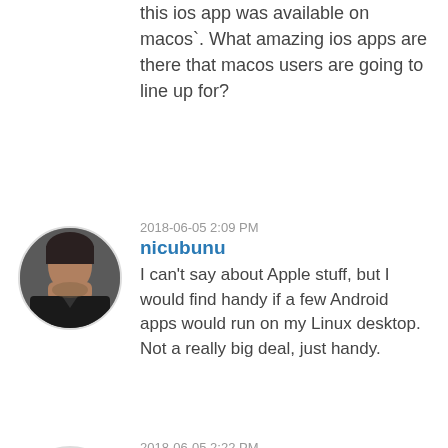this ios app was available on macos`. What amazing ios apps are there that macos users are going to line up for?
2018-06-05 2:09 PM
nicubunu
I can't say about Apple stuff, but I would find handy if a few Android apps would run on my Linux desktop. Not a really big deal, just handy.
2018-06-05 2:22 PM
Thomas2005
Maybe I don't know enough people but I don't know anyone who has ever said 'I wish this ios app was available on macos`. What amazing ios apps are there that macos users are